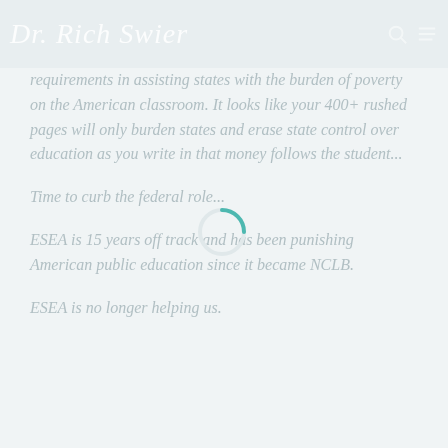Dr. Rich Swier
requirements in assisting states with the burden of poverty on the American classroom. It looks like your 400+ rushed pages will only burden states and erase state control over education as you write in that money follows the student.
Time to curb the federal role...
ESEA is 15 years off track and has been punishing American public education since it became NCLB.
ESEA is no longer helping us.